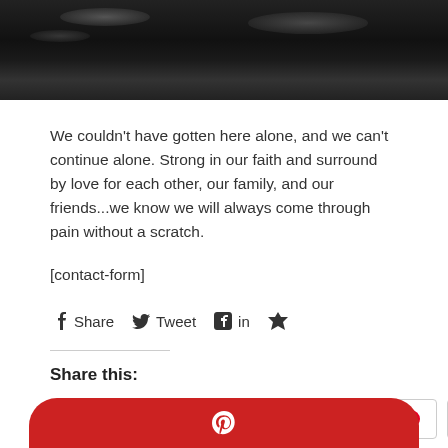[Figure (photo): Dark/black photograph with light glare reflections, appears to be a close-up of a dark shiny surface]
We couldn't have gotten here alone, and we can't continue alone.  Strong in our faith and surround by love for each other, our family, and our friends...we know we will always come through pain without a scratch.
[contact-form]
f Share  Tweet  in  StumbleUpon
Share this:
Twitter  Facebook  Pinterest 7  Tumblr
[Figure (other): Red rounded bar with Pinterest pin icon at bottom of page]